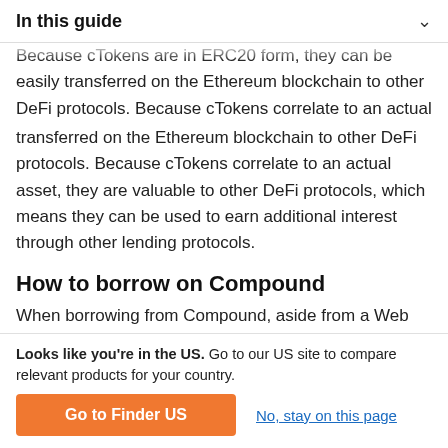In this guide
Because cTokens are in ERC20 form, they can be easily transferred on the Ethereum blockchain to other DeFi protocols. Because cTokens correlate to an actual asset, they are valuable to other DeFi protocols, which means they can be used to earn additional interest through other lending protocols.
How to borrow on Compound
When borrowing from Compound, aside from a Web 3.0 digital wallet, the only other thing a user requires is the cryptocurrency to be deposited as collateral. Compound, like many other DeFi protocols, works on an over-collateralisation basis, which means that the amount deposited as collateral
Looks like you're in the US. Go to our US site to compare relevant products for your country.
Go to Finder US
No, stay on this page